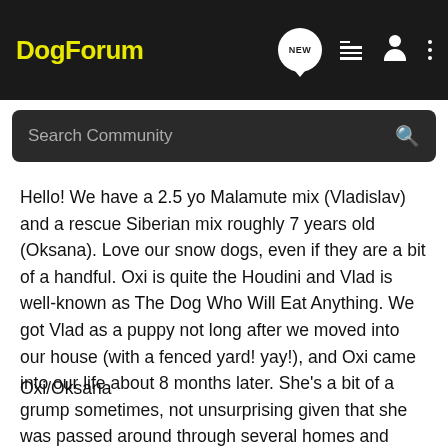DogForum — navigation header with NEW, list, user, and menu icons
Search Community
Hello! We have a 2.5 yo Malamute mix (Vladislav) and a rescue Siberian mix roughly 7 years old (Oksana). Love our snow dogs, even if they are a bit of a handful. Oxi is quite the Houdini and Vlad is well-known as The Dog Who Will Eat Anything. We got Vlad as a puppy not long after we moved into our house (with a fenced yard! yay!), and Oxi came into our life about 8 months later. She's a bit of a grump sometimes, not unsurprising given that she was passed around through several homes and shelters before coming to us, and she's a big talker. Vlad is much quieter, and loves kids - he lets my son, niece, and nephew crawl all over him without any complaint.
Oxi/Oksana